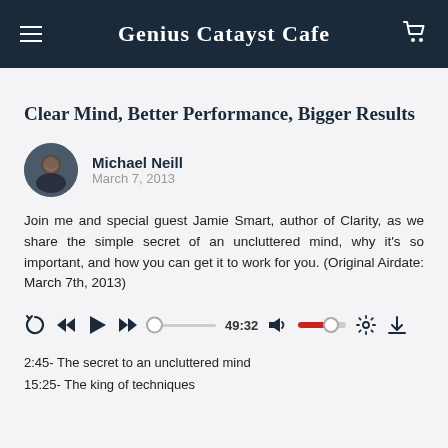Genius Catayst Cafe
Clear Mind, Better Performance, Bigger Results
Michael Neill
March 7, 2013
Join me and special guest Jamie Smart, author of Clarity, as we share the simple secret of an uncluttered mind, why it's so important, and how you can get it to work for you. (Original Airdate: March 7th, 2013)
[Figure (screenshot): Audio player controls showing play, rewind, fast-forward buttons, progress bar, time 49:32, volume control, settings and download icons]
2:45- The secret to an uncluttered mind
15:25- The king of techniques